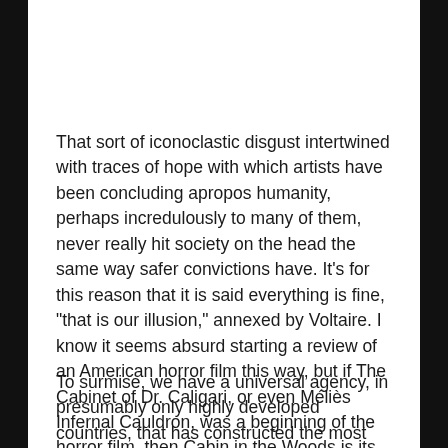That sort of iconoclastic disgust intertwined with traces of hope with which artists have been concluding apropos humanity, perhaps incredulously to many of them, never really hit society on the head the same way safer convictions have. It's for this reason that it is said everything is fine, “that is our illusion,” annexed by Voltaire. I know it seems absurd starting a review of an American horror film this way, but if The Cabinet of Dr. Caligari, or even Méliès Infernal Cauldron, was a beginning of the horror film, then Cabin in the Woods is its silence until a new invention is served.
To surmise, we have a universal agency, in presumably only highly developed countries, that has constructed the most complex system of